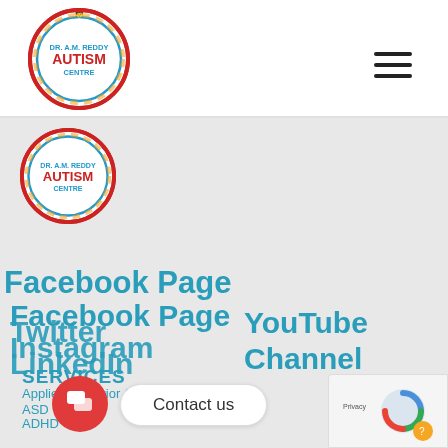[Figure (logo): Dr. A.M. Reddy Autism Centre circular logo with children figures around the border, blue and red colors]
[Figure (logo): Dr. A.M. Reddy Autism Centre circular logo (smaller, repeated) with children figures around the border]
Facebook Page  Twitter  Instagram  LinkedIn  YouTube Channel
SERVICES
Applied Behavior Area
ASD
ADHD